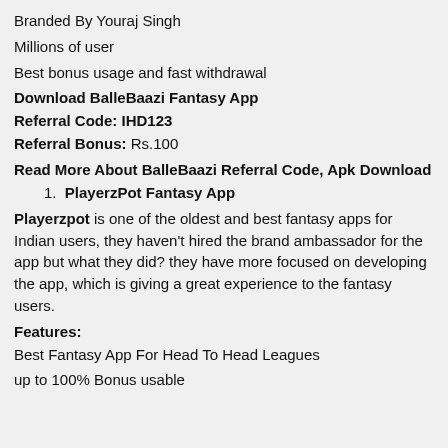Branded By Youraj Singh
Millions of user
Best bonus usage and fast withdrawal
Download BalleBaazi Fantasy App
Referral Code: IHD123
Referral Bonus: Rs.100
Read More About BalleBaazi Referral Code, Apk Download
PlayerzPot Fantasy App
Playerzpot is one of the oldest and best fantasy apps for Indian users, they haven't hired the brand ambassador for the app but what they did? they have more focused on developing the app, which is giving a great experience to the fantasy users.
Features:
Best Fantasy App For Head To Head Leagues
up to 100% Bonus usable